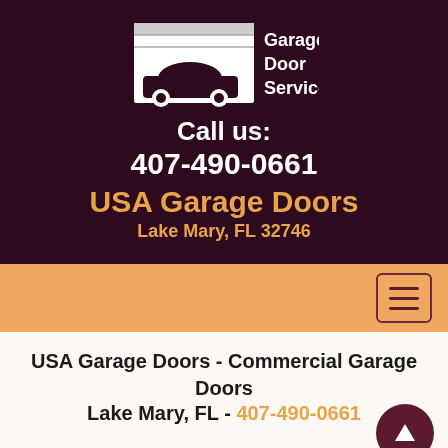[Figure (logo): Garage Door Service logo with white silhouette of a car under a garage door and text 'Garage Door Service']
Call us:
407-490-0661
USA Garage Doors
Lake Mary, FL 32746
[Figure (other): Orange navigation bar with hamburger menu button]
USA Garage Doors - Commercial Garage Doors Lake Mary, FL - 407-490-0661
It took years of hard work and effort to build USA Garage